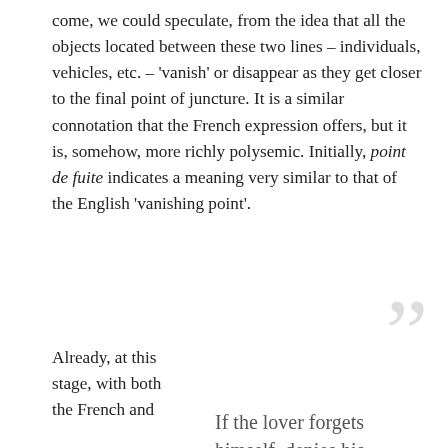come, we could speculate, from the idea that all the objects located between these two lines – individuals, vehicles, etc. – 'vanish' or disappear as they get closer to the final point of juncture. It is a similar connotation that the French expression offers, but it is, somehow, more richly polysemic. Initially, point de fuite indicates a meaning very similar to that of the English 'vanishing point'.
Already, at this stage, with both the French and
If the lover forgets himself, denies his identity and falls for the Other in her visual appearance of singularity, the misleading promise of a sustainable, unaltered or